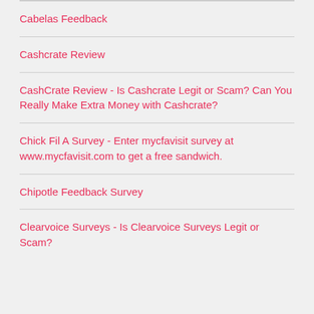Cabelas Feedback
Cashcrate Review
CashCrate Review - Is Cashcrate Legit or Scam? Can You Really Make Extra Money with Cashcrate?
Chick Fil A Survey - Enter mycfavisit survey at www.mycfavisit.com to get a free sandwich.
Chipotle Feedback Survey
Clearvoice Surveys - Is Clearvoice Surveys Legit or Scam?